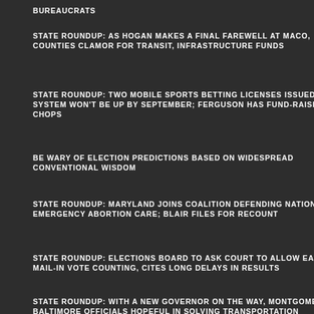BUREAUCRATS
STATE ROUNDUP: AS HOGAN MAKES A FINAL FAREWELL AT MACO, COUNTIES CLAMOR FOR TRANSIT, INFRASTRUCTURE FUNDS
STATE ROUNDUP: TWO MOBILE SPORTS BETTING LICENSES ISSUED, BUT SYSTEM WON'T BE UP BY SEPTEMBER; FERGUSON HAS FUND-RAISING CHOPS
BE WARY OF ELECTION PREDICTIONS BASED ON WIDESPREAD CONVENTIONAL WISDOM
STATE ROUNDUP: MARYLAND JOINS COALITION DEFENDING NATIONWIDE EMERGENCY ABORTION CARE; BLAIR FILES FOR RECOUNT
STATE ROUNDUP: ELECTIONS BOARD TO ASK COURT TO ALLOW EARLY MAIL-IN VOTE COUNTING, CITES LONG DELAYS IN RESULTS
STATE ROUNDUP: WITH A NEW GOVERNOR ON THE WAY, MONTGOMERY, BALTIMORE OFFICIALS HOPEFUL IN SOLVING TRANSPORTATION PROBLEMS